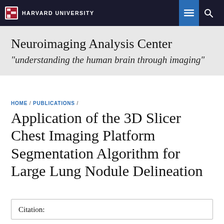HARVARD UNIVERSITY
Neuroimaging Analysis Center
"understanding the human brain through imaging"
HOME / PUBLICATIONS /
Application of the 3D Slicer Chest Imaging Platform Segmentation Algorithm for Large Lung Nodule Delineation
Citation: